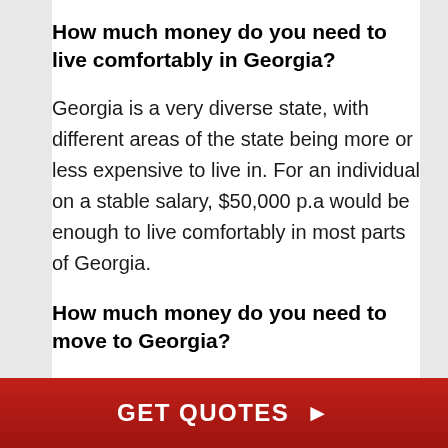How much money do you need to live comfortably in Georgia?
Georgia is a very diverse state, with different areas of the state being more or less expensive to live in. For an individual on a stable salary, $50,000 p.a would be enough to live comfortably in most parts of Georgia.
How much money do you need to move to Georgia?
You'll want an income of about 60k minimum if you plan on living comfortably in Georgia. But
GET QUOTES ▶